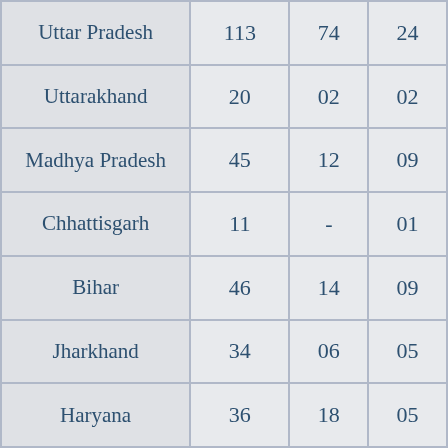| Uttar Pradesh | 113 | 74 | 24 |
| Uttarakhand | 20 | 02 | 02 |
| Madhya Pradesh | 45 | 12 | 09 |
| Chhattisgarh | 11 | - | 01 |
| Bihar | 46 | 14 | 09 |
| Jharkhand | 34 | 06 | 05 |
| Haryana | 36 | 18 | 05 |